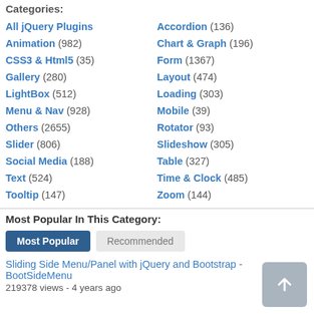Categories:
All jQuery Plugins
Accordion (136)
Animation (982)
Chart & Graph (196)
CSS3 & Html5 (35)
Form (1367)
Gallery (280)
Layout (474)
LightBox (512)
Loading (303)
Menu & Nav (928)
Mobile (39)
Others (2655)
Rotator (93)
Slider (806)
Slideshow (305)
Social Media (188)
Table (327)
Text (524)
Time & Clock (485)
Tooltip (147)
Zoom (144)
Most Popular In This Category:
Sliding Side Menu/Panel with jQuery and Bootstrap - BootSideMenu
219378 views - 4 years ago